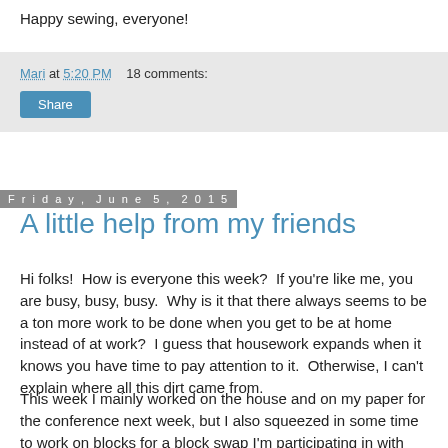Happy sewing, everyone!
Mari at 5:20 PM    18 comments:
Share
Friday, June 5, 2015
A little help from my friends
Hi folks!  How is everyone this week?  If you're like me, you are busy, busy, busy.  Why is it that there always seems to be a ton more work to be done when you get to be at home instead of at work?  I guess that housework expands when it knows you have time to pay attention to it.  Otherwise, I can't explain where all this dirt came from.
This week I mainly worked on the house and on my paper for the conference next week, but I also squeezed in some time to work on blocks for a block swap I'm participating in with some friends.  Here are my blocks for this month: